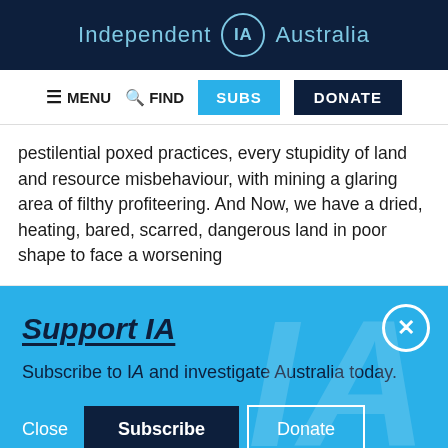Independent IA Australia
MENU  FIND  SUBS  DONATE
pestilential poxed practices, every stupidity of land and resource misbehaviour, with mining a glaring area of filthy profiteering. And Now, we have a dried, heating, bared, scarred, dangerous land in poor shape to face a worsening
[Figure (screenshot): Blue promotional overlay with Support IA heading, subscribe prompt text, close button, and Subscribe/Donate buttons]
Twitter  Facebook  LinkedIn  Flipboard  Link  Plus social icons